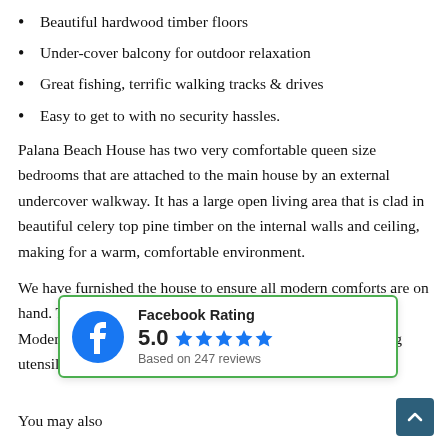Beautiful hardwood timber floors
Under-cover balcony for outdoor relaxation
Great fishing, terrific walking tracks & drives
Easy to get to with no security hassles.
Palana Beach House has two very comfortable queen size bedrooms that are attached to the main house by an external undercover walkway. It has a large open living area that is clad in beautiful celery top pine timber on the internal walls and ceiling, making for a warm, comfortable environment.
We have furnished the house to ensure all modern comforts are on hand. There is an excellent hotplate BBQ outside. Modern [overlay obscures text] ase as well as the domestics [overlay] cooking utensils to make a [overlay] ng machine, etc.).
[Figure (infographic): Facebook Rating badge showing 5.0 stars based on 247 reviews, with green border and Facebook logo icon]
You may also [text cut off at bottom]